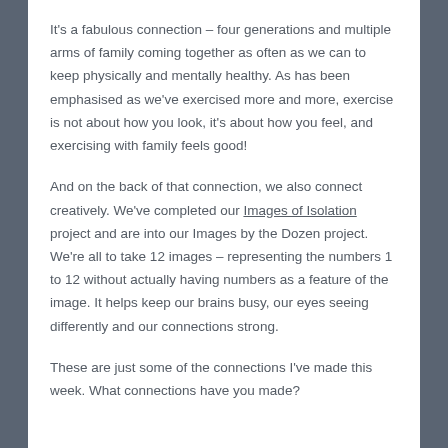It's a fabulous connection – four generations and multiple arms of family coming together as often as we can to keep physically and mentally healthy. As has been emphasised as we've exercised more and more, exercise is not about how you look, it's about how you feel, and exercising with family feels good!
And on the back of that connection, we also connect creatively. We've completed our Images of Isolation project and are into our Images by the Dozen project. We're all to take 12 images – representing the numbers 1 to 12 without actually having numbers as a feature of the image. It helps keep our brains busy, our eyes seeing differently and our connections strong.
These are just some of the connections I've made this week. What connections have you made?